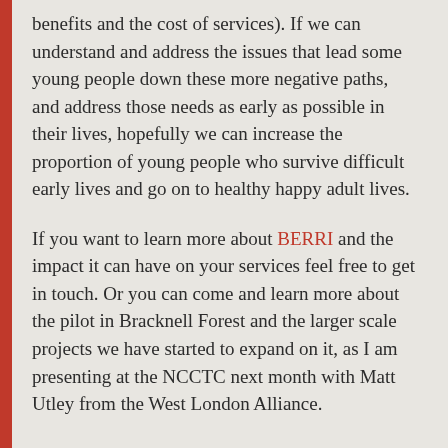benefits and the cost of services). If we can understand and address the issues that lead some young people down these more negative paths, and address those needs as early as possible in their lives, hopefully we can increase the proportion of young people who survive difficult early lives and go on to healthy happy adult lives.

If you want to learn more about BERRI and the impact it can have on your services feel free to get in touch. Or you can come and learn more about the pilot in Bracknell Forest and the larger scale projects we have started to expand on it, as I am presenting at the NCCTC next month with Matt Utley from the West London Alliance.